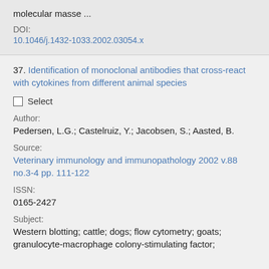molecular masse …
DOI:
10.1046/j.1432-1033.2002.03054.x
37. Identification of monoclonal antibodies that cross-react with cytokines from different animal species
Select
Author:
Pedersen, L.G.; Castelruiz, Y.; Jacobsen, S.; Aasted, B.
Source:
Veterinary immunology and immunopathology 2002 v.88 no.3-4 pp. 111-122
ISSN:
0165-2427
Subject:
Western blotting; cattle; dogs; flow cytometry; goats; granulocyte-macrophage colony-stimulating factor;